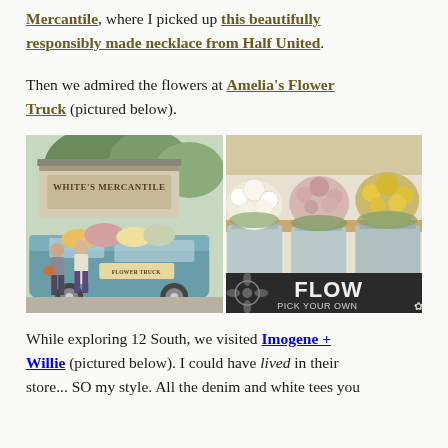Mercantile, where I picked up this beautifully responsibly made necklace from Half United.
Then we admired the flowers at Amelia's Flower Truck (pictured below).
[Figure (photo): Two-panel photo: left panel shows two women standing in front of a teal VW flower truck labeled 'FLOWER TRUCK' parked beside White's Mercantile sign; right panel shows close-up of flower buckets with white, pink, and yellow blooms, and a chalkboard sign reading 'FLOW PICK YOUR OWN']
While exploring 12 South, we visited Imogene + Willie (pictured below). I could have lived in their store... SO my style. All the denim and white tees you